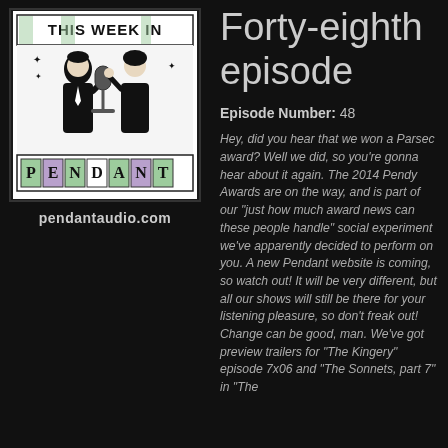[Figure (logo): This Week In Pendant podcast logo with retro-style illustration of a man and woman at a microphone, with text 'THIS WEEK IN PENDANT' and 'pendantaudio.com' below]
Forty-eighth episode
Episode Number: 48
Hey, did you hear that we won a Parsec award? Well we did, so you're gonna hear about it again. The 2014 Pendy Awards are on the way, and is part of our "just how much award news can these people handle" social experiment we've apparently decided to perform on you. A new Pendant website is coming, so watch out! It will be very different, but all our shows will still be there for your listening pleasure, so don't freak out! Change can be good, man. We've got preview trailers for "The Kingery" episode 7x06 and "The Sonnets, part 7" in "The